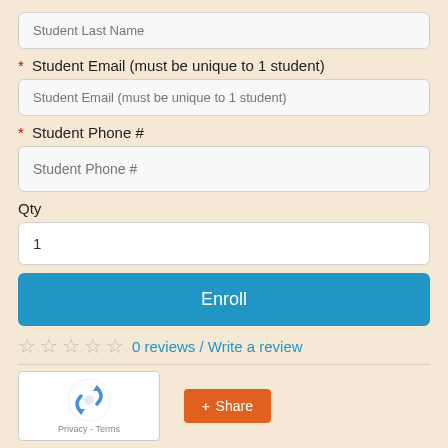Student Last Name (input field)
* Student Email (must be unique to 1 student)
Student Email (must be unique to 1 student) (input field)
* Student Phone #
Student Phone # (input field)
Qty
1 (qty input field)
Enroll (button)
☆ ☆ ☆ ☆ ☆ 0 reviews / Write a review
[Figure (other): reCAPTCHA widget with recycling arrows logo and Privacy - Terms footer]
+ Share (button)